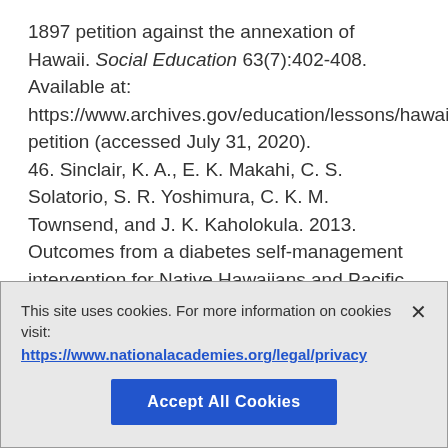1897 petition against the annexation of Hawaii. Social Education 63(7):402-408. Available at: https://www.archives.gov/education/lessons/hawaii-petition (accessed July 31, 2020). 46. Sinclair, K. A., E. K. Makahi, C. S. Solatorio, S. R. Yoshimura, C. K. M. Townsend, and J. K. Kaholokula. 2013. Outcomes from a diabetes self-management intervention for Native Hawaiians and Pacific Peoples: Partners in Care. Annals of Behavioral Medicine 45(1):24-32. https://doi.org/10.1007/s12160-012-9422-1
This site uses cookies. For more information on cookies visit: https://www.nationalacademies.org/legal/privacy